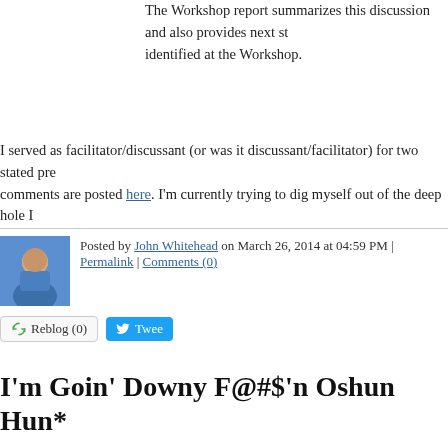The Workshop report summarizes this discussion and also provides next st identified at the Workshop.
I served as facilitator/discussant (or was it discussant/facilitator) for two stated pre comments are posted here. I'm currently trying to dig myself out of the deep hole I
Posted by John Whitehead on March 26, 2014 at 04:59 PM | Permalink | Comments (0)
Reblog (0)   Tweet
I'm Goin' Downy F@#$'n Oshun Hun*
For all my Maryland friends:
Flushing out foul language. Maryland’s most popular beach town bans bad summer, you’ll see the signs up and down the boardwalk.
...
Watch your words the next time you head to Ocean City. Signs reading “N every block of the Boardwalk. The measure was approved by the town cou
...
A recent study showed Maryland is the second most foul mouthed state in different message.